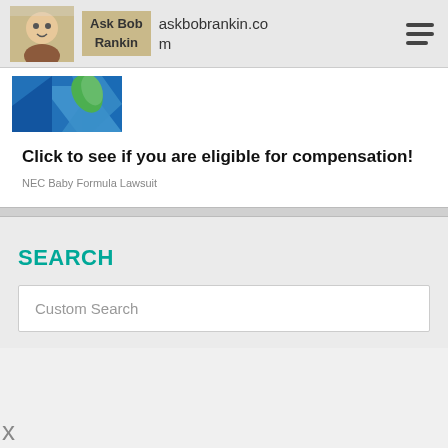askbobrankin.com
[Figure (screenshot): Partial screenshot of an advertisement with blue geometric shapes and a green leaf element]
Click to see if you are eligible for compensation!
NEC Baby Formula Lawsuit
SEARCH
Custom Search